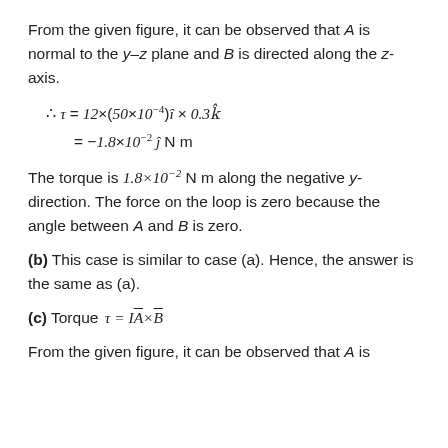From the given figure, it can be observed that A is normal to the y–z plane and B is directed along the z-axis.
The torque is 1.8×10⁻² N m along the negative y-direction. The force on the loop is zero because the angle between A and B is zero.
(b) This case is similar to case (a). Hence, the answer is the same as (a).
(c) Torque τ = I A̅ × B̅
From the given figure, it can be observed that A is